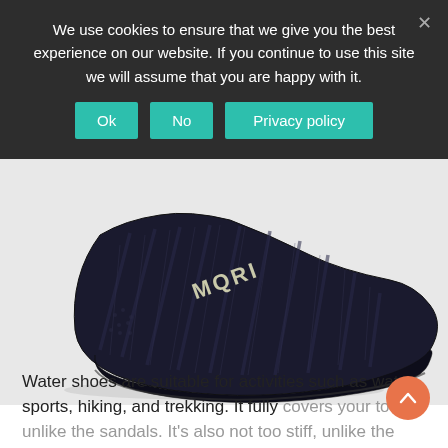We use cookies to ensure that we give you the best experience on our website. If you continue to use this site we will assume that you are happy with it.
Ok | No | Privacy policy
[Figure (photo): Close-up photo of a black water/aqua shoe with mesh upper and diagonal stripe pattern, brand lettering visible on the side, rubber sole, displayed against a white background.]
Water shoes are suitable for activities such as water sports, hiking, and trekking. It fully covers your toes, unlike the sandals. It's also not too stiff, unlike the water boots. When